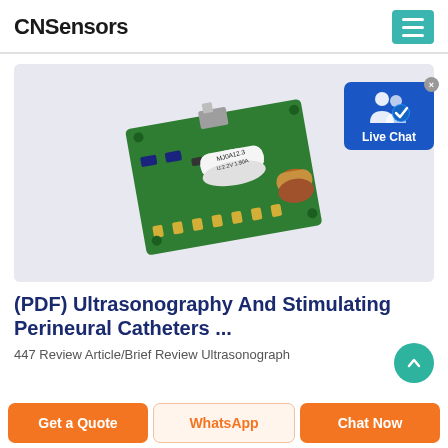CNSensors
[Figure (photo): A small green PCB (printed circuit board) with a white cylindrical component labeled 'MJ0A12.3 U:2.2V 1.90A' mounted on it, along with a copper-colored capacitor and metal connector, photographed on a light grey background.]
[Figure (screenshot): Live Chat badge icon with two user figures and a blue checkmark, on a blue background, with a grey X close button in the top right corner.]
(PDF) Ultrasonography And Stimulating Perineural Catheters ...
447 Review Article/Brief Review Ultrasonograph
Get a Quote
WhatsApp
Chat Now